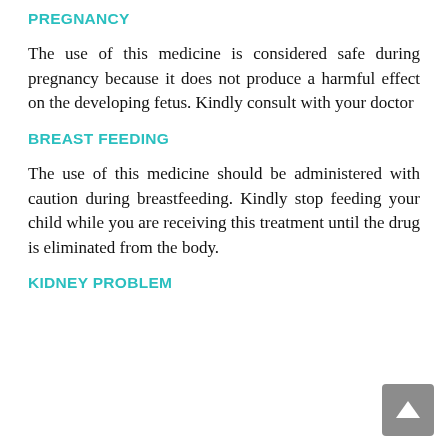PREGNANCY
The use of this medicine is considered safe during pregnancy because it does not produce a harmful effect on the developing fetus. Kindly consult with your doctor
BREAST FEEDING
The use of this medicine should be administered with caution during breastfeeding. Kindly stop feeding your child while you are receiving this treatment until the drug is eliminated from the body.
KIDNEY PROBLEM